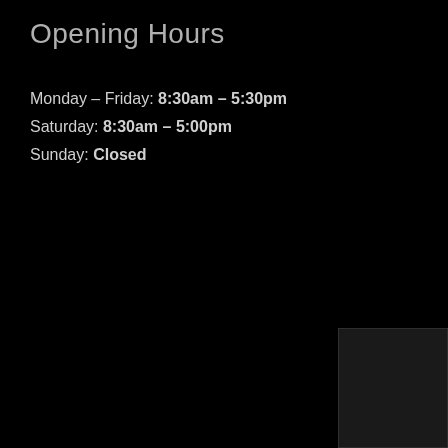Opening Hours
Monday – Friday: 8:30am – 5:30pm
Saturday: 8:30am – 5:00pm
Sunday: Closed
[Figure (other): Dark rectangular box/panel in the bottom-right corner of the page]